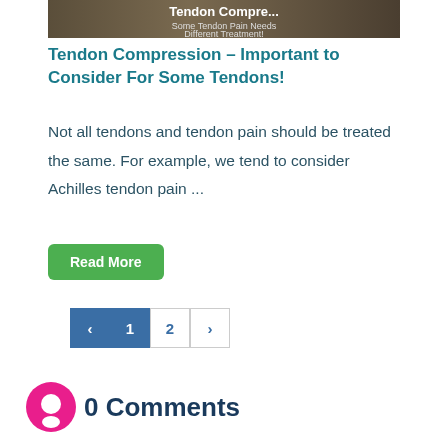[Figure (photo): Article thumbnail image showing a person with text overlay 'Tendon Compression... Some Tendon Pain Needs Different Treatment!']
Tendon Compression – Important to Consider For Some Tendons!
Not all tendons and tendon pain should be treated the same. For example, we tend to consider Achilles tendon pain ...
Read More
‹  1  2  ›
0 Comments